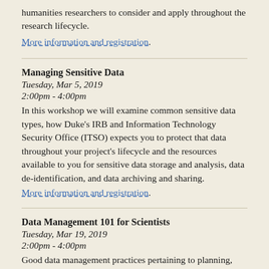humanities researchers to consider and apply throughout the research lifecycle.
More information and registration.
Managing Sensitive Data
Tuesday, Mar 5, 2019
2:00pm - 4:00pm
In this workshop we will examine common sensitive data types, how Duke's IRB and Information Technology Security Office (ITSO) expects you to protect that data throughout your project's lifecycle and the resources available to you for sensitive data storage and analysis, data de-identification, and data archiving and sharing.
More information and registration.
Data Management 101 for Scientists
Tuesday, Mar 19, 2019
2:00pm - 4:00pm
Good data management practices pertaining to planning, organization, documentation, storage and backup, sharing, citation, and preservation will be presented through a sciences lens using discipline-based, concrete examples.